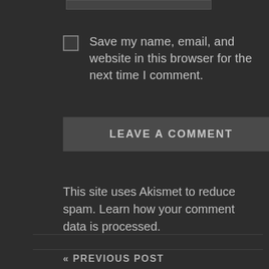Save my name, email, and website in this browser for the next time I comment.
LEAVE A COMMENT
This site uses Akismet to reduce spam. Learn how your comment data is processed.
« PREVIOUS POST